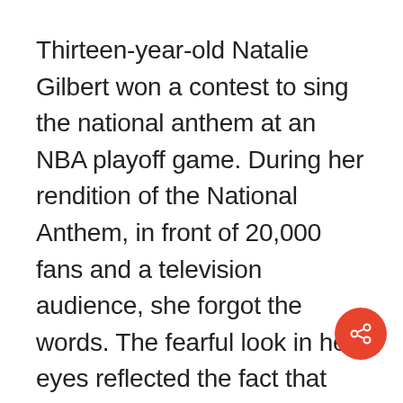Thirteen-year-old Natalie Gilbert won a contest to sing the national anthem at an NBA playoff game. During her rendition of the National Anthem, in front of 20,000 fans and a television audience, she forgot the words. The fearful look in her eyes reflected the fact that she could not remember the words and did not know what to do. At that moment, Maurice Cheeks, the coach of the Portland team, moved over to Gilbert, put his arm around her, and helped her finish the song. The coach came alongside the frightened girl and helped her in her time of need.